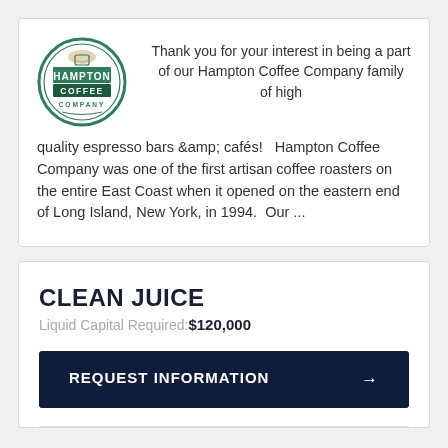[Figure (logo): Hampton Coffee Company circular logo with green border and text]
Thank you for your interest in being a part of our Hampton Coffee Company family of high quality espresso bars & cafés! Hampton Coffee Company was one of the first artisan coffee roasters on the entire East Coast when it opened on the eastern end of Long Island, New York, in 1994. Our ...
CLEAN JUICE
Liquid Capital Required: $120,000
REQUEST INFORMATION →